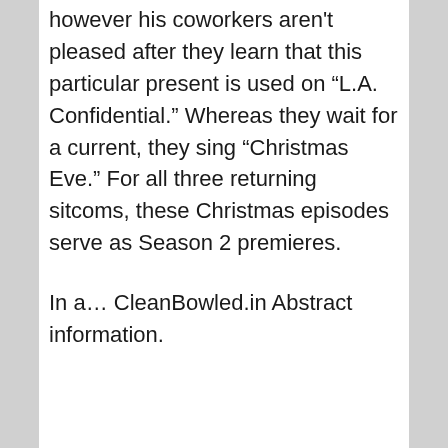however his coworkers aren't pleased after they learn that this particular present is used on “L.A. Confidential.” Whereas they wait for a current, they sing “Christmas Eve.” For all three returning sitcoms, these Christmas episodes serve as Season 2 premieres.
In a… CleanBowled.in Abstract information.